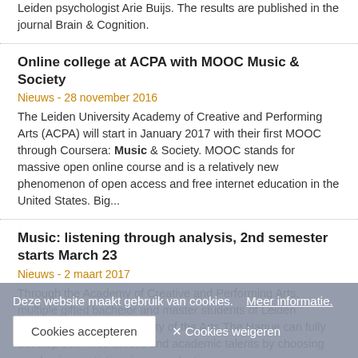Leiden psychologist Arie Buijs. The results are published in the journal Brain & Cognition.
Online college at ACPA with MOOC Music & Society
Nieuws - 28 november 2016
The Leiden University Academy of Creative and Performing Arts (ACPA) will start in January 2017 with their first MOOC through Coursera: Music & Society. MOOC stands for massive open online course and is a relatively new phenomenon of open access and free internet education in the United States. Big...
Music: listening through analysis, 2nd semester starts March 23
Nieuws - 2 maart 2017
Through the Academy of Creative and Performing Arts, multiple gifted bachelor and master students of Leiden University and the University of the Arts The Hague can fully develop both their artistic and academic talents by choosing academic or artistic minors or electives.
Leiden University hosts Music and Cultural Analysis reading group
Nieuws - 1 februari 2016
In 2016, Leiden University hosts the monthly meetings of the Music and Cultural Analysis reading group. The meetings normally consist of a lecture and a musical performance performed by Practicum Musicae-students.
Deze website maakt gebruik van cookies. Meer informatie.